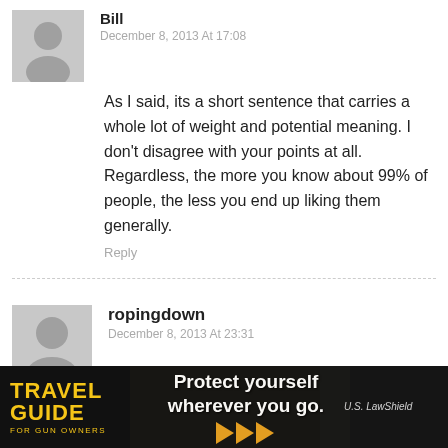Bill
December 8, 2013 At 17:08
As I said, its a short sentence that carries a whole lot of weight and potential meaning. I don't disagree with your points at all. Regardless, the more you know about 99% of people, the less you end up liking them generally.
Reply
ropingdown
December 8, 2013 At 23:31
By his own words Stanley meant to kill the headman. He merely noted the killing of those standing behind the chief. Even today we send very small groups through foreign or opposition- Ops or They...
[Figure (infographic): Travel Guide For Gun Owners advertisement banner. Dark background with text 'Protect yourself wherever you go.' with orange arrow graphics and US LawShield branding.]